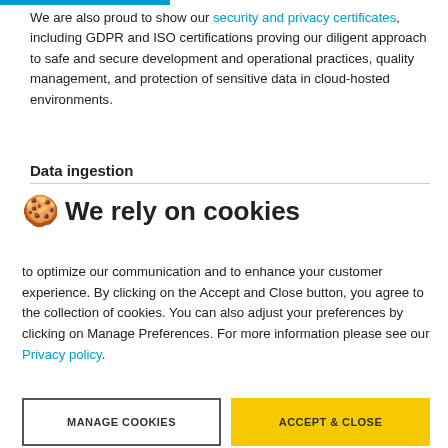We are also proud to show our security and privacy certificates, including GDPR and ISO certifications proving our diligent approach to safe and secure development and operational practices, quality management, and protection of sensitive data in cloud-hosted environments.
Data ingestion
🍪 We rely on cookies
to optimize our communication and to enhance your customer experience. By clicking on the Accept and Close button, you agree to the collection of cookies. You can also adjust your preferences by clicking on Manage Preferences. For more information please see our Privacy policy.